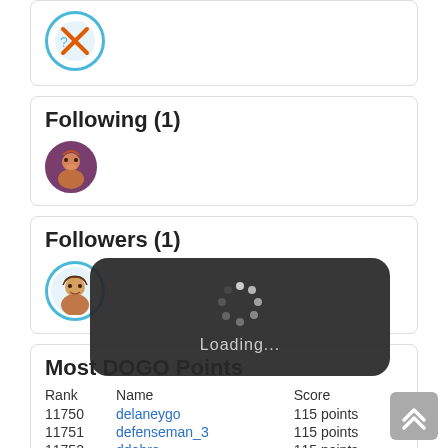[Figure (illustration): Avatar icon with blue circular border and orange X mark, partially visible at top]
Following (1)
[Figure (illustration): Small purple/brown avatar with cartoon face]
Followers (1)
[Figure (illustration): Small cyan-bordered avatar with cartoon girl face]
Most DOGO Points
| Rank | Name | Score |
| --- | --- | --- |
| 11750 | delaneygo | 115 points |
| 11751 | defenseman_3 | 115 points |
| 11752 | ddobro | 115 points |
| 11753 | davidjnews | 115 points |
| 11754 | darthvader65 | 115 points |
| 11755 | darsy | 115 points |
| 11756 | cyvazuvujanove | 115 points |
[Figure (illustration): Loading spinner overlay with 'Loading...' text on dark rounded rectangle]
[Figure (illustration): Back to top button with double chevron up arrow]